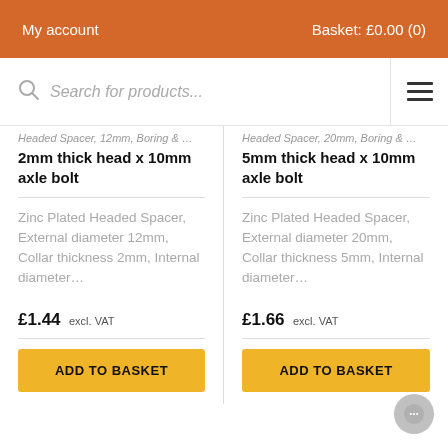My account | Basket: £0.00 (0)
Search for products...
2mm thick head x 10mm axle bolt
Zinc Plated Headed Spacer, External diameter 12mm, Collar thickness 2mm, Internal diameter...
£1.44 excl. VAT
ADD TO BASKET
5mm thick head x 10mm axle bolt
Zinc Plated Headed Spacer, External diameter 20mm, Collar thickness 5mm, Internal diameter...
£1.66 excl. VAT
ADD TO BASKET